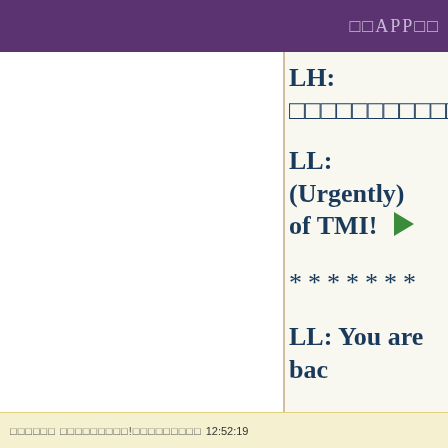□□APP□□
LH: □□□□□□□□□□□□
LL: (Urgently) of TMI!
*******
LL: You are bac
LH: □□□□TMI "t
□□□□□□ □□□□□□□□□!□□□□□□□□□ 12:52:19